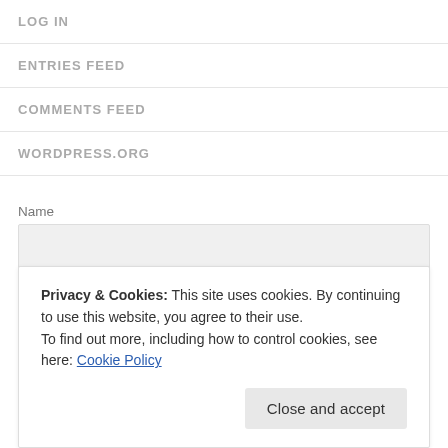LOG IN
ENTRIES FEED
COMMENTS FEED
WORDPRESS.ORG
Name
Email
Privacy & Cookies: This site uses cookies. By continuing to use this website, you agree to their use.
To find out more, including how to control cookies, see here: Cookie Policy
Close and accept